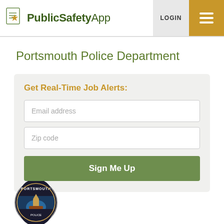PublicSafetyApp  LOGIN ☰
Portsmouth Police Department
Get Real-Time Job Alerts:
Email address
Zip code
Sign Me Up
[Figure (logo): Portsmouth Police Department badge/seal with ship emblem]